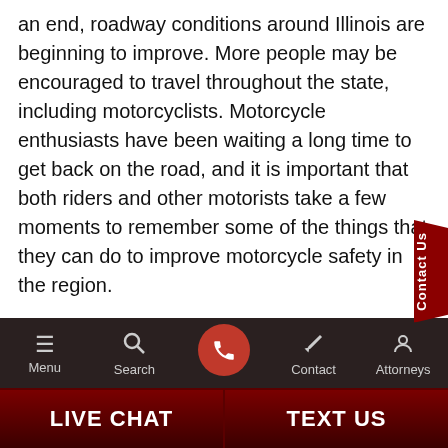an end, roadway conditions around Illinois are beginning to improve. More people may be encouraged to travel throughout the state, including motorcyclists. Motorcycle enthusiasts have been waiting a long time to get back on the road, and it is important that both riders and other motorists take a few moments to remember some of the things that they can do to improve motorcycle safety in the region.
For riders, the prospect of being involved in a motorcycle accident is a very serious threat each and every time they head out.
Menu | Search | [call button] | Contact | Attorneys | LIVE CHAT | TEXT US